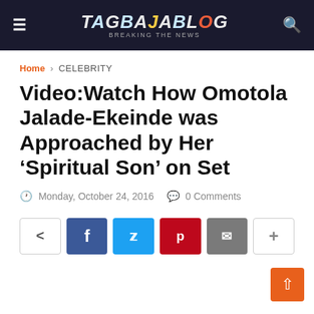[Figure (logo): TAGBAJABLOG site header with hamburger menu icon on left, logo in center, and search icon on right, on dark navy background]
Home › CELEBRITY
Video:Watch How Omotola Jalade-Ekeinde was Approached by Her ‘Spiritual Son’ on Set
Monday, October 24, 2016   0 Comments